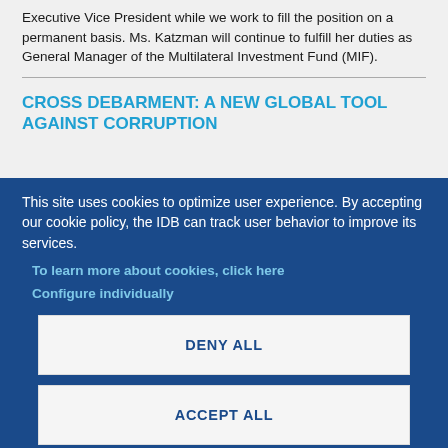Executive Vice President while we work to fill the position on a permanent basis. Ms. Katzman will continue to fulfill her duties as General Manager of the Multilateral Investment Fund (MIF).
CROSS DEBARMENT: A NEW GLOBAL TOOL AGAINST CORRUPTION
This site uses cookies to optimize user experience. By accepting our cookie policy, the IDB can track user behavior to improve its services.
To learn more about cookies, click here
Configure individually
DENY ALL
ACCEPT ALL